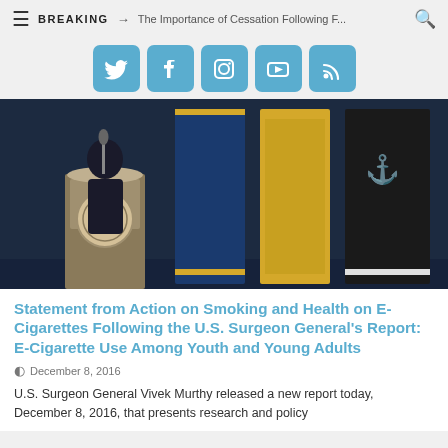BREAKING → The Importance of Cessation Following F...
[Figure (other): Social media icons row: Twitter, Facebook, Instagram, YouTube, RSS — blue rounded square buttons]
[Figure (photo): A uniformed official (U.S. Surgeon General) speaking at a podium with official seals and flags (Navy blue, gold/yellow, and black U.S. Public Health Service flags) in the background on a stage.]
Statement from Action on Smoking and Health on E-Cigarettes Following the U.S. Surgeon General's Report: E-Cigarette Use Among Youth and Young Adults
December 8, 2016
U.S. Surgeon General Vivek Murthy released a new report today, December 8, 2016, that presents research and policy